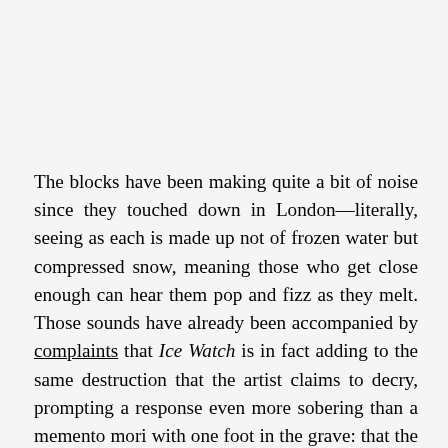The blocks have been making quite a bit of noise since they touched down in London—literally, seeing as each is made up not of frozen water but compressed snow, meaning those who get close enough can hear them pop and fizz as they melt. Those sounds have already been accompanied by complaints that Ice Watch is in fact adding to the same destruction that the artist claims to decry, prompting a response even more sobering than a memento mori with one foot in the grave: that the sheer rate at which Greenland is losing icebergs—315,400,000,000 total per year—actually makes it impossible for Eliasson to overharvest.